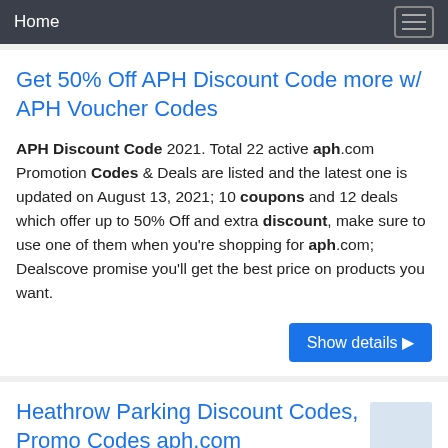Home
Get 50% Off APH Discount Code more w/ APH Voucher Codes
APH Discount Code 2021. Total 22 active aph.com Promotion Codes & Deals are listed and the latest one is updated on August 13, 2021; 10 coupons and 12 deals which offer up to 50% Off and extra discount, make sure to use one of them when you're shopping for aph.com; Dealscove promise you'll get the best price on products you want.
Show details ▶
Heathrow Parking Discount Codes, Promo Codes aph.com